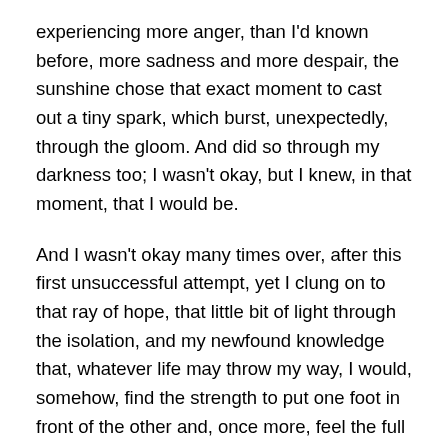experiencing more anger, than I'd known before, more sadness and more despair, the sunshine chose that exact moment to cast out a tiny spark, which burst, unexpectedly, through the gloom. And did so through my darkness too; I wasn't okay, but I knew, in that moment, that I would be.
And I wasn't okay many times over, after this first unsuccessful attempt, yet I clung on to that ray of hope, that little bit of light through the isolation, and my newfound knowledge that, whatever life may throw my way, I would, somehow, find the strength to put one foot in front of the other and, once more, feel the full force of the sunshine on my face.
Five years feels like a life time ago, but the memories are still so vivid and, as much as I carry infertility with me,